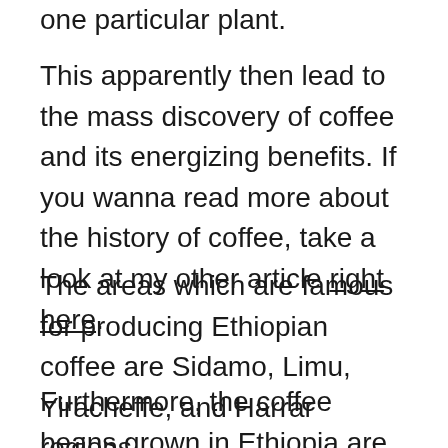one particular plant.
This apparently then lead to the mass discovery of coffee and its energizing benefits. If you wanna read more about the history of coffee, take a look at my other article right here.
The areas which are famous for producing Ethiopian coffee are Sidamo, Limu, Yiracheffe, and Harrar regions.
Furthermore, the coffee beans grown in Ethiopia are grown at a higher altitude. The farms where they are grown are at 1500 to